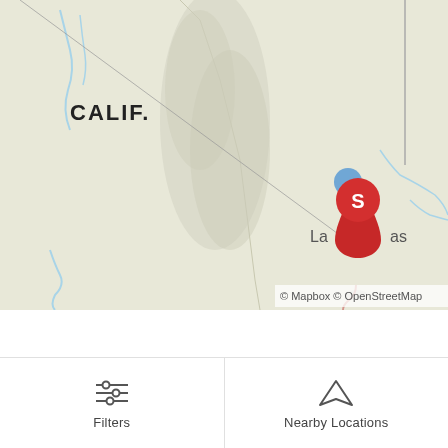[Figure (map): Map showing California region with terrain shading, 'CALIF.' label on the left, a red location pin marker with letter 'S' and a blue circle near Las Vegas area, text 'Las Vegas' partially visible, diagonal line across map, attribution '© Mapbox © OpenStreetMap' at bottom right]
Filters
Nearby Locations